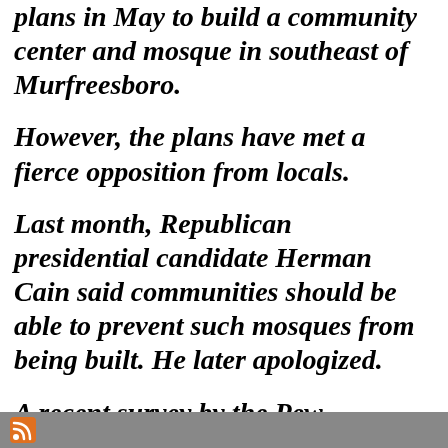plans in May to build a community center and mosque in southeast of Murfreesboro.
However, the plans have met a fierce opposition from locals.
Last month, Republican presidential candidate Herman Cain said communities should be able to prevent such mosques from being built. He later apologized.
A recent survey by the Pew Research Center has showed that the majority of Americans